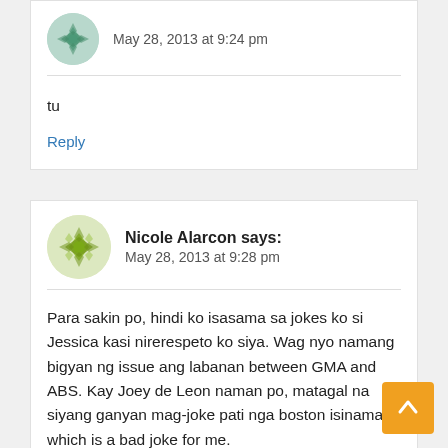[Figure (illustration): Teal/green decorative avatar icon in a circle]
May 28, 2013 at 9:24 pm
tu
Reply
[Figure (illustration): Yellow-green decorative avatar icon in a circle]
Nicole Alarcon says:
May 28, 2013 at 9:28 pm
Para sakin po, hindi ko isasama sa jokes ko si Jessica kasi nirerespeto ko siya. Wag nyo namang bigyan ng issue ang labanan between GMA and ABS. Kay Joey de Leon naman po, matagal na siyang ganyan mag-joke pati nga boston isinama which is a bad joke for me.